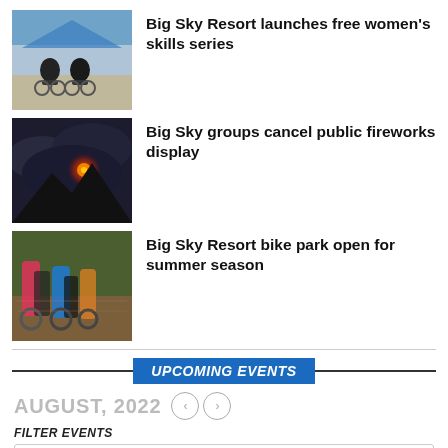[Figure (photo): Two cyclists on mountain bikes outdoors under a blue tent canopy]
Big Sky Resort launches free women's skills series
[Figure (photo): Dark cloudy sky with a glowing red volcanic eruption or firework in the distance]
Big Sky groups cancel public fireworks display
[Figure (photo): Mountain bikers racing on a dirt trail, colorful jerseys, motion blur]
Big Sky Resort bike park open for summer season
UPCOMING EVENTS
AUGUST, 2022
FILTER EVENTS
No Events